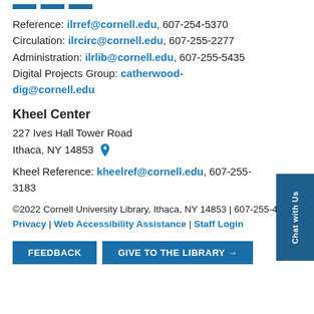Reference: ilrref@cornell.edu, 607-254-5370
Circulation: ilrcirc@cornell.edu, 607-255-2277
Administration: ilrlib@cornell.edu, 607-255-5435
Digital Projects Group: catherwood-dig@cornell.edu
Kheel Center
227 Ives Hall Tower Road
Ithaca, NY 14853
Kheel Reference: kheelref@cornell.edu, 607-255-3183
©2022 Cornell University Library, Ithaca, NY 14853 | 607-255-4144 | Privacy | Web Accessibility Assistance | Staff Login
FEEDBACK | GIVE TO THE LIBRARY →